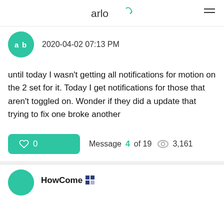arlo
2020-04-02 07:13 PM
until today I wasn't getting all notifications for motion on the 2 set for it.  Today I get notifications for those that aren't toggled on. Wonder if they did a update that trying to fix one broke another
Message 4 of 19  3,161
HowCome